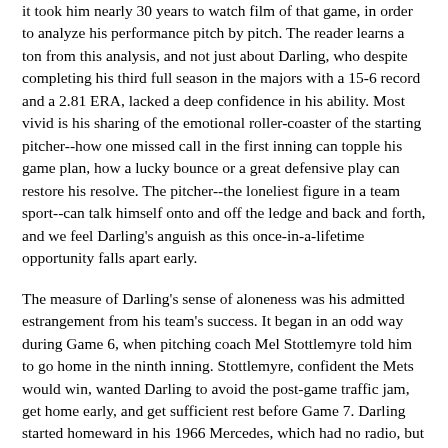it took him nearly 30 years to watch film of that game, in order to analyze his performance pitch by pitch. The reader learns a ton from this analysis, and not just about Darling, who despite completing his third full season in the majors with a 15-6 record and a 2.81 ERA, lacked a deep confidence in his ability. Most vivid is his sharing of the emotional roller-coaster of the starting pitcher--how one missed call in the first inning can topple his game plan, how a lucky bounce or a great defensive play can restore his resolve. The pitcher--the loneliest figure in a team sport--can talk himself onto and off the ledge and back and forth, and we feel Darling's anguish as this once-in-a-lifetime opportunity falls apart early.
The measure of Darling's sense of aloneness was his admitted estrangement from his team's success. It began in an odd way during Game 6, when pitching coach Mel Stottlemyre told him to go home in the ninth inning. Stottlemyre, confident the Mets would win, wanted Darling to avoid the post-game traffic jam, get home early, and get sufficient rest before Game 7. Darling started homeward in his 1966 Mercedes, which had no radio, but he soon sensed